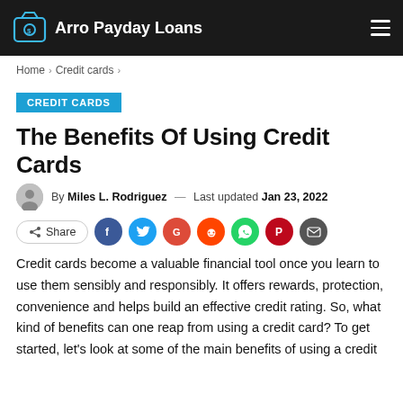Arro Payday Loans
Home > Credit cards >
CREDIT CARDS
The Benefits Of Using Credit Cards
By Miles L. Rodriguez — Last updated Jan 23, 2022
[Figure (other): Social share buttons: Share, Facebook, Twitter, Google, Reddit, WhatsApp, Pinterest, Email]
Credit cards become a valuable financial tool once you learn to use them sensibly and responsibly. It offers rewards, protection, convenience and helps build an effective credit rating. So, what kind of benefits can one reap from using a credit card? To get started, let's look at some of the main benefits of using a credit